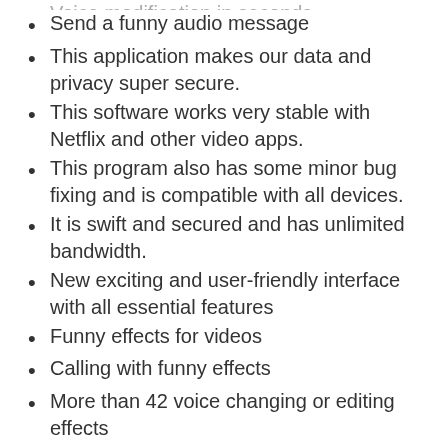Voice modification in seconds
Send a funny audio message
This application makes our data and privacy super secure.
This software works very stable with Netflix and other video apps.
This program also has some minor bug fixing and is compatible with all devices.
It is swift and secured and has unlimited bandwidth.
New exciting and user-friendly interface with all essential features
Funny effects for videos
Calling with funny effects
More than 42 voice changing or editing effects
How To Crack?